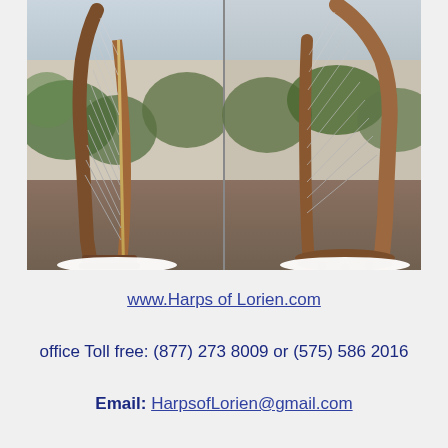[Figure (photo): Two side-by-side photos of wooden Celtic harps photographed outdoors on white cloth, with natural desert/scrubland background. Left photo shows front view with strings visible, right photo shows side/back view of the harp body.]
www.Harps of Lorien.com
office Toll free: (877) 273 8009 or (575) 586 2016
Email: HarpsofLorien@gmail.com